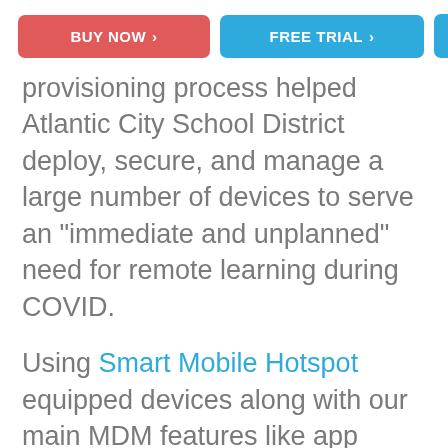BUY NOW >   FREE TRIAL >   ≡
provisioning process helped Atlantic City School District deploy, secure, and manage a large number of devices to serve an "immediate and unplanned" need for remote learning during COVID.
Using Smart Mobile Hotspot equipped devices along with our main MDM features like app whitelisting/blacklisting, CIPA compliant internet filtering, device tracking, expense control, and security alerts has helped Atlantic City maintain a high standard of education.